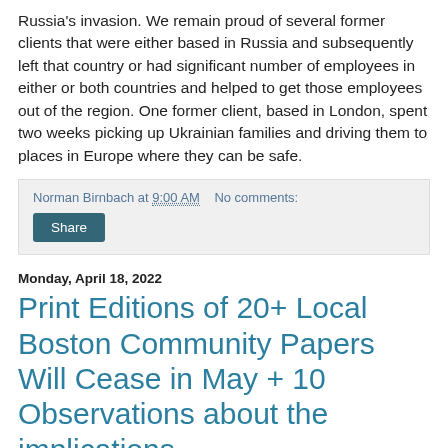Russia's invasion. We remain proud of several former clients that were either based in Russia and subsequently left that country or had significant number of employees in either or both countries and helped to get those employees out of the region. One former client, based in London, spent two weeks picking up Ukrainian families and driving them to places in Europe where they can be safe.
Norman Birnbach at 9:00 AM   No comments:
Share
Monday, April 18, 2022
Print Editions of 20+ Local Boston Community Papers Will Cease in May + 10 Observations about the implications
More than 20 local communities, particularly in suburbs west of Boston, will lose the print edition of their local weekly